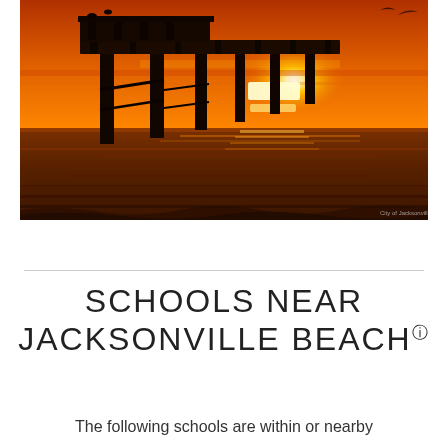[Figure (photo): Sunset photograph of a beach pier silhouette with vibrant orange sky and ocean waves at Jacksonville Beach. Birds visible on pier structure. Watermark reads 'City of Jacksonville'.]
SCHOOLS NEAR JACKSONVILLE BEACH ⓘ
The following schools are within or nearby